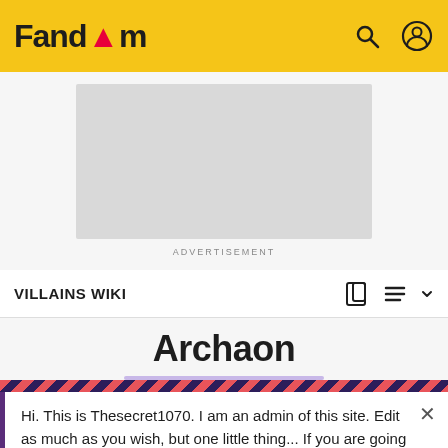Fandom
[Figure (other): Gray advertisement placeholder rectangle]
ADVERTISEMENT
VILLAINS WIKI
Archaon
Hi. This is Thesecret1070. I am an admin of this site. Edit as much as you wish, but one little thing... If you are going to edit a lot, then make yourself a user and login. Other than that, enjoy Villains Wiki!!!